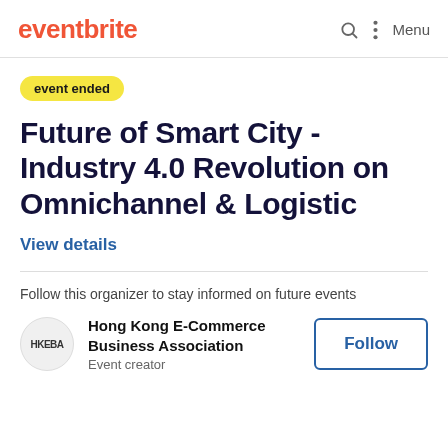eventbrite | Menu
event ended
Future of Smart City - Industry 4.0 Revolution on Omnichannel & Logistic
View details
Follow this organizer to stay informed on future events
Hong Kong E-Commerce Business Association
Event creator
Follow